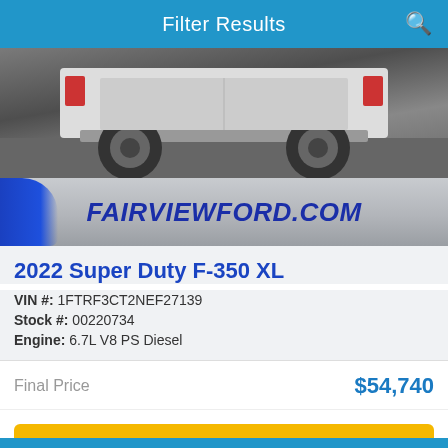Filter Results
[Figure (photo): Rear undercarriage view of a white Ford Super Duty F-350 truck on a grey road surface, dealership branding banner showing FAIRVIEWFORD.COM in italic dark blue text]
2022 Super Duty F-350 XL
VIN #: 1FTRF3CT2NEF27139
Stock #: 00220734
Engine: 6.7L V8 PS Diesel
Final Price  $54,740
🔒 Unlock Instant Price